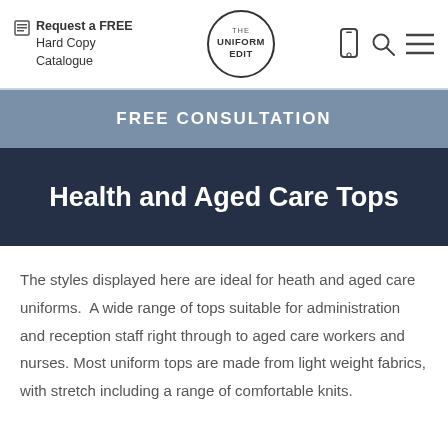Request a FREE Hard Copy Catalogue | THE UNIFORM EDIT
FREE CONSULTATION
Health and Aged Care Tops
The styles displayed here are ideal for heath and aged care uniforms.  A wide range of tops suitable for administration and reception staff right through to aged care workers and nurses. Most uniform tops are made from light weight fabrics, with stretch including a range of comfortable knits.